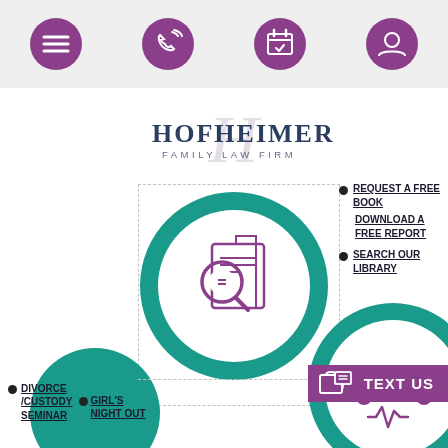[Figure (screenshot): Mobile website navigation bar with hamburger menu icon and three circular purple icons for phone, calendar, and user profile]
[Figure (logo): Hofheimer Family Law Firm logo with stylized H script watermark, bold serif HOFHEIMER text and FAMILY LAW FIRM subtitle]
REQUEST A FREE BOOK
DOWNLOAD A FREE REPORT
SEARCH OUR LIBRARY
[Figure (illustration): Teal circular badge containing a purple magnifying glass over document icon, representing library search]
DIVORCE /CUSTODY SEMINAR
GIRL'S NIGHT OUT
[Figure (illustration): Teal circular badge with purple headset/speaker icon representing contact or consultation]
TEXT US